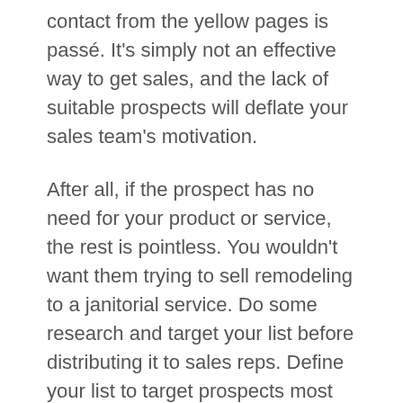contact from the yellow pages is passé. It's simply not an effective way to get sales, and the lack of suitable prospects will deflate your sales team's motivation.
After all, if the prospect has no need for your product or service, the rest is pointless. You wouldn't want them trying to sell remodeling to a janitorial service. Do some research and target your list before distributing it to sales reps. Define your list to target prospects most likely to buy your product.
An easy way to distribute leads is through effective sales CRM software with